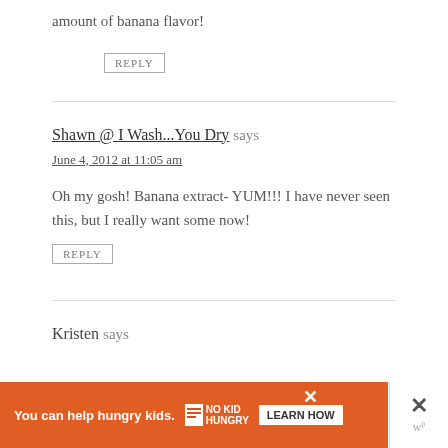amount of banana flavor!
REPLY
Shawn @ I Wash...You Dry says
June 4, 2012 at 11:05 am
Oh my gosh! Banana extract- YUM!!! I have never seen this, but I really want some now!
REPLY
Kristen says
[Figure (other): Orange advertisement banner: 'You can help hungry kids. NO KID HUNGRY LEARN HOW' with close buttons]